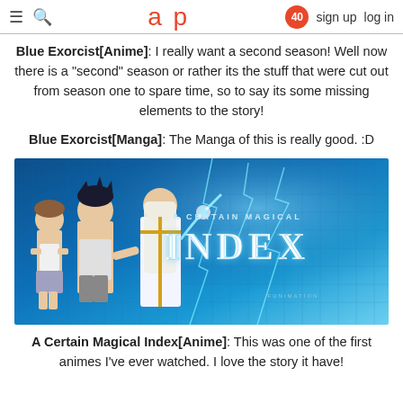aup  40  sign up  log in
Blue Exorcist[Anime]: I really want a second season! Well now there is a "second" season or rather its the stuff that were cut out from season one to spare time, so to say its some missing elements to the story!
Blue Exorcist[Manga]: The Manga of this is really good. :D
[Figure (illustration): A Certain Magical Index anime promotional banner showing three characters against a blue lightning background with the title 'A Certain Magical Index']
A Certain Magical Index[Anime]: This was one of the first animes I've ever watched. I love the story it have!